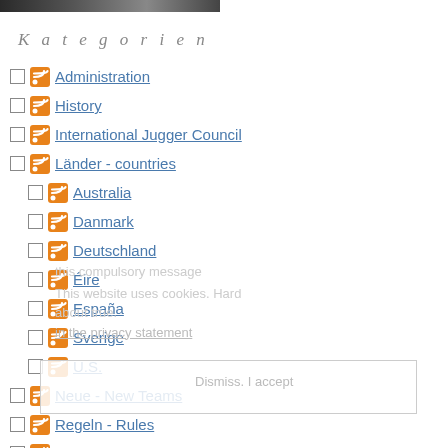[Figure (photo): Partial image at the top of the page, appears to be a dark/action photograph]
Kategorien
Administration
History
International Jugger Council
Länder - countries
Australia
Danmark
Deutschland
Éire
España
Sverige
U.S.
Neue - New Teams
Regeln - Rules
Sonstiges - Miscellaneous
The Jugger Archives
This compulsory message
This website uses cookies. Hard
about true.
in the privacy statement